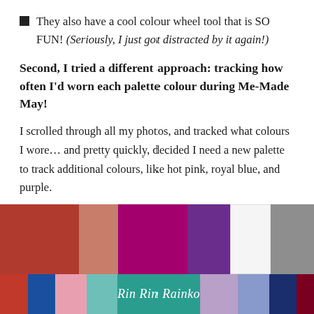They also have a cool colour wheel tool that is SO FUN! (Seriously, I just got distracted by it again!)
Second, I tried a different approach: tracking how often I'd worn each palette colour during Me-Made May!
I scrolled through all my photos, and tracked what colours I wore… and pretty quickly, decided I need a new palette to track additional colours, like hot pink, royal blue, and purple.
Voila!
[Figure (illustration): A row of color swatches showing dark red/terracotta, salmon/muted orange, deep magenta/fuchsia, purple, white, and gray colors. Below is a partial view of a colorful logo strip with script text.]